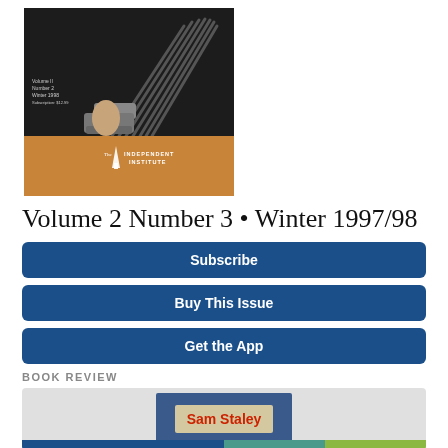[Figure (illustration): Magazine cover for The Independent Institute, Volume 2, Number 3, Winter 1998. Top half shows a dark background with a gavel being struck, with multiple gavel handles fanned out behind. Bottom section is orange/tan with The Independent Institute logo and text in white.]
Volume 2  Number 3 • Winter 1997/98
[Figure (other): Subscribe button — blue rounded rectangle with white bold text]
[Figure (other): Buy This Issue button — blue rounded rectangle with white bold text]
[Figure (other): Get the App button — blue rounded rectangle with white bold text]
BOOK REVIEW
[Figure (photo): Book review preview image showing 'Sam Staley' text in red on a tan background inside a blue frame, with color strips at bottom in blue, teal, and green.]